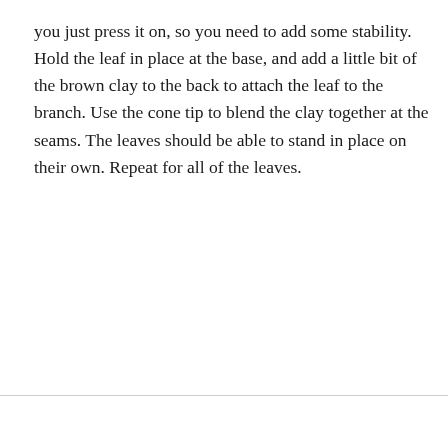you just press it on, so you need to add some stability. Hold the leaf in place at the base, and add a little bit of the brown clay to the back to attach the leaf to the branch. Use the cone tip to blend the clay together at the seams. The leaves should be able to stand in place on their own. Repeat for all of the leaves.